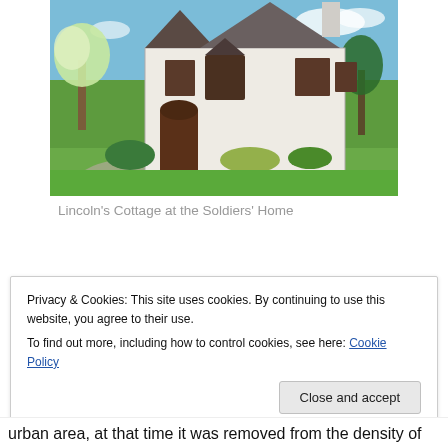[Figure (photo): Photograph of Lincoln's Cottage at the Soldiers' Home — a large white two-story Gothic Revival house with dark trim, arched entry, trees and lawn in the foreground, blue sky in the background.]
Lincoln's Cottage at the Soldiers' Home
Privacy & Cookies: This site uses cookies. By continuing to use this website, you agree to their use.
To find out more, including how to control cookies, see here: Cookie Policy
urban area, at that time it was removed from the density of